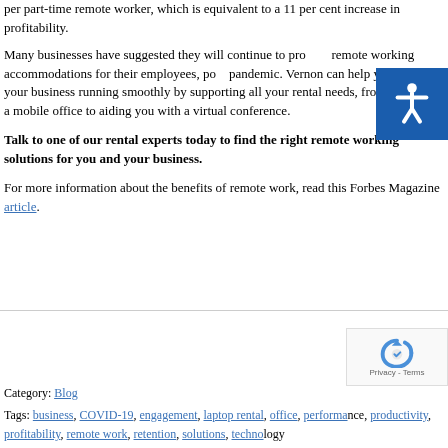per part-time remote worker, which is equivalent to a 11 per cent increase in profitability.
Many businesses have suggested they will continue to provide remote working accommodations for their employees, post-pandemic. Vernon can help you keep your business running smoothly by supporting all your rental needs, from installing a mobile office to aiding you with a virtual conference.
Talk to one of our rental experts today to find the right remote working solutions for you and your business.
For more information about the benefits of remote work, read this Forbes Magazine article.
Category: Blog
Tags: business, COVID-19, engagement, laptop rental, office, performance, productivity, profitability, remote work, retention, solutions, technology